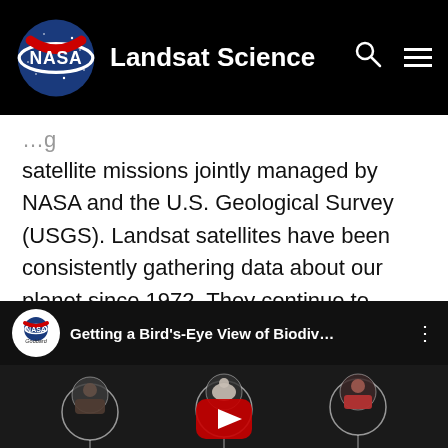NASA Landsat Science
satellite missions jointly managed by NASA and the U.S. Geological Survey (USGS). Landsat satellites have been consistently gathering data about our planet since 1972. They continue to improve and expand this unparalleled record of Earth's changing landscapes for the benefit of all.
[Figure (screenshot): YouTube video thumbnail showing 'Getting a Bird's-Eye View of Biodiv...' with NASA Goddard logo and circular preview images of people against a dark background with a YouTube play button.]